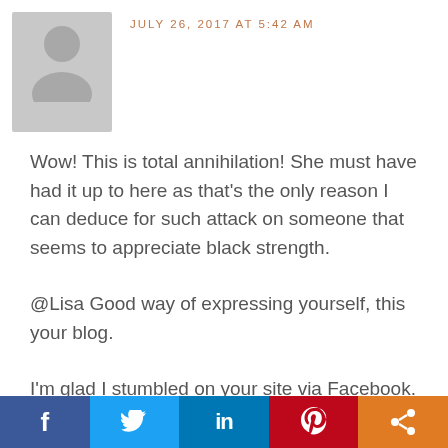[Figure (illustration): Generic grey avatar/placeholder person silhouette icon]
JULY 26, 2017 AT 5:42 AM
Wow! This is total annihilation! She must have had it up to here as that's the only reason I can deduce for such attack on someone that seems to appreciate black strength.
@Lisa Good way of expressing yourself, this your blog.
I'm glad I stumbled on your site via Facebook.
[Figure (infographic): Social media sharing bar with Facebook, Twitter, LinkedIn, Pinterest, and Share buttons]